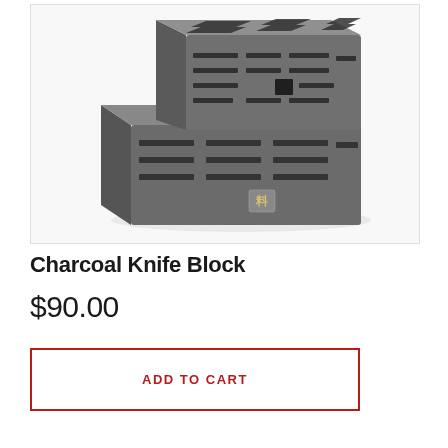[Figure (photo): A charcoal-colored knife block (Zwilling brand) with multiple slots on top and sides, photographed on a white background. The block has a stepped/tiered design with a small Zwilling logo on the front face.]
Charcoal Knife Block
$90.00
ADD TO CART